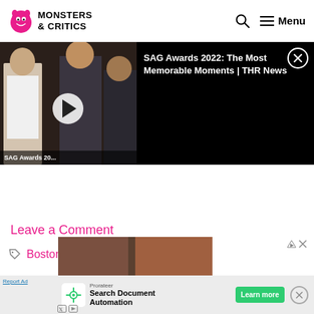Monsters & Critics — Menu
[Figure (screenshot): Video player banner showing SAG Awards 2022 video thumbnail with play button on black background. Left side shows photo of award ceremony attendees. Right side shows video title 'SAG Awards 2022: The Most Memorable Moments | THR News' in white text with close button.]
SAG Awards 20...
SAG Awards 2022: The Most Memorable Moments | THR News
Leave a Comment
Boston Celtics
[Figure (infographic): Advertisement banner for Prorateer Search Document Automation with green Learn more button and close button. Bottom shows Report Ad link and ad icons.]